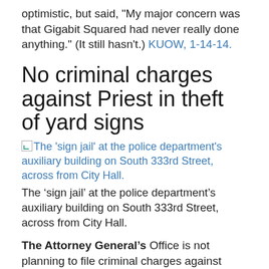optimistic, but said, "My major concern was that Gigabit Squared had never really done anything." (It still hasn't.) KUOW, 1-14-14.
No criminal charges against Priest in theft of yard signs
[Figure (photo): The 'sign jail' at the police department's auxiliary building on South 333rd Street, across from City Hall. (broken image link shown in blue)]
The ‘sign jail’ at the police department’s auxiliary building on South 333rd Street, across from City Hall.
The Attorney General's Office is not planning to file criminal charges against former Federal Way Mayor Skip Priest, who was caught removing city-confiscated campaign signs last September. “The actions of the suspect, while perhaps viewed as